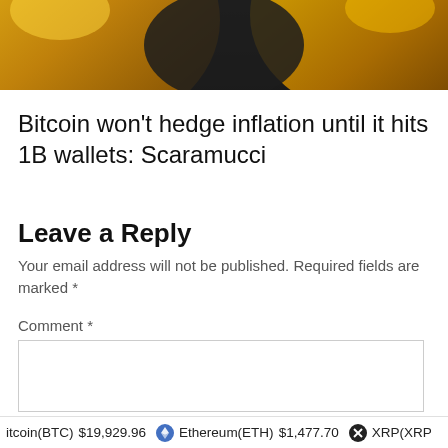[Figure (photo): Partial view of Bitcoin-related illustration with golden tones and dark background, cropped at top]
Bitcoin won't hedge inflation until it hits 1B wallets: Scaramucci
Leave a Reply
Your email address will not be published. Required fields are marked *
Comment *
itcoin(BTC) $19,929.96  Ethereum(ETH) $1,477.70  XRP(XRP